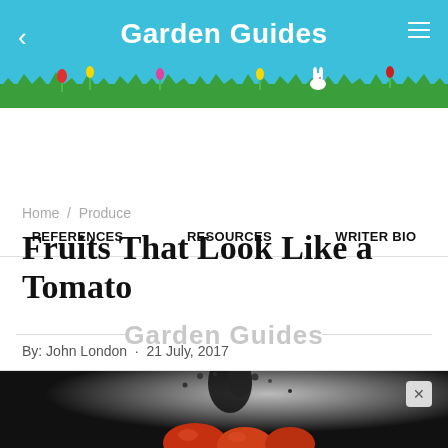Garden Guides
REFERENCES   RESOURCES   WRITER BIO
Garden Guides
Home / Produce
Fruits That Look Like a Tomato
By: John London  ·  21 July, 2017
[Figure (photo): Tomatoes splashing in water, high-speed photography]